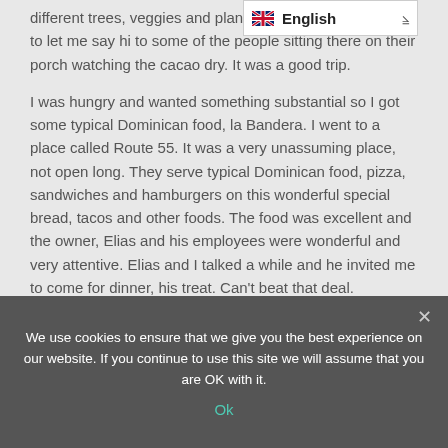different trees, veggies and plants we passed. He stopped to let me say hi to some of the people sitting there on their porch watching the cacao dry. It was a good trip.
I was hungry and wanted something substantial so I got some typical Dominican food, la Bandera. I went to a place called Route 55. It was a very unassuming place, not open long. They serve typical Dominican food, pizza, sandwiches and hamburgers on this wonderful special bread, tacos and other foods. The food was excellent and the owner, Elias and his employees were wonderful and very attentive. Elias and I talked a while and he invited me to come for dinner, his treat. Can't beat that deal.
We use cookies to ensure that we give you the best experience on our website. If you continue to use this site we will assume that you are OK with it.